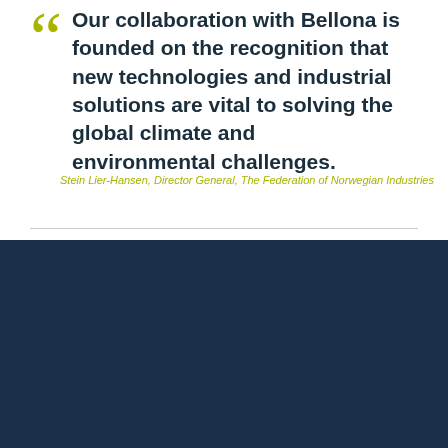Our collaboration with Bellona is founded on the recognition that new technologies and industrial solutions are vital to solving the global climate and environmental challenges.
Stein Lier-Hansen, Director General, The Federation of Norwegian Industries
Subjects | Publications | Events | Projects | About Bellona | Contact | Partnership
[Figure (logo): BELLONA logo with double horizontal rules above and below]
Address: Rådhusgata 28, 0151 Oslo, Norway | Phone +4723234600 | info@bellona.no